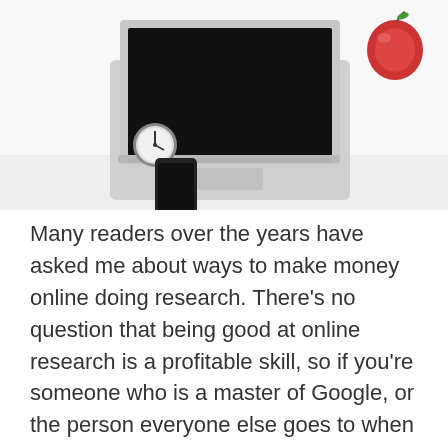[Figure (photo): A laptop computer on a white desk with a small clock/watch, a black smartphone, and a red apple in the upper right corner.]
Many readers over the years have asked me about ways to make money online doing research. There's no question that being good at online research is a profitable skill, so if you're someone who is a master of Google, or the person everyone else goes to when they are looking for specific info and they… Read